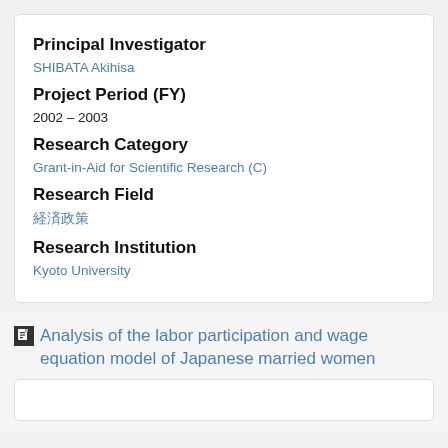Principal Investigator
SHIBATA Akihisa
Project Period (FY)
2002 – 2003
Research Category
Grant-in-Aid for Scientific Research (C)
Research Field
経済政策
Research Institution
Kyoto University
Analysis of the labor participation and wage equation model of Japanese married women